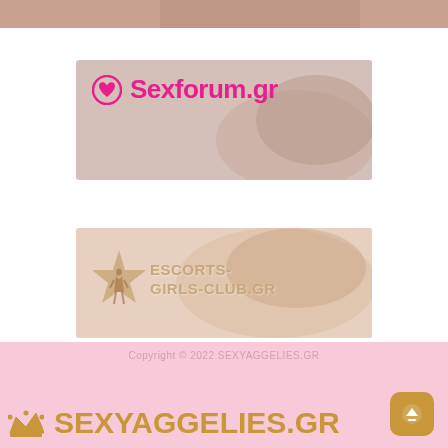[Figure (photo): Cropped top portion of a photo, partial image visible at top of page]
[Figure (logo): Sexforum.gr banner with pink heart logo and site name in pink bold text over a photo background of a woman lying down]
[Figure (logo): Escorts-Girls-Club.gr banner with gold star and female silhouette logo, site name in gold text, over a photo background of a woman]
Copyright © 2022 SEXYAGGELIES.GR
[Figure (logo): SEXYAGGELIES.GR logo with gold crown icon and gold bold text, plus a gold rounded-square app icon with up-arrow, on pink background]